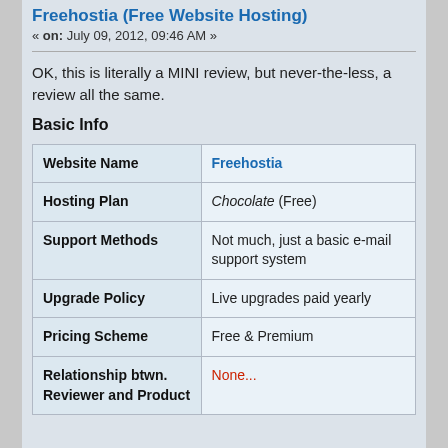Freehostia (Free Website Hosting)
« on: July 09, 2012, 09:46 AM »
OK, this is literally a MINI review, but never-the-less, a review all the same.
Basic Info
|  |  |
| --- | --- |
| Website Name | Freehostia |
| Hosting Plan | Chocolate (Free) |
| Support Methods | Not much, just a basic e-mail support system |
| Upgrade Policy | Live upgrades paid yearly |
| Pricing Scheme | Free & Premium |
| Relationship btwn. Reviewer and Product | None... |